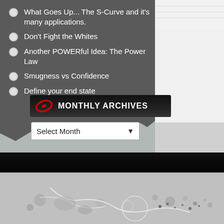What Goes Up... The S-Curve and it's many applications.
Don't Fight the Whites
Another POWERful Idea: The Power Law
Smugness vs Confidence
Define your end state
MONTHLY ARCHIVES
[Figure (screenshot): Dropdown selector showing 'Select Month' with arrow, and decorative dark background with grungy splatter artwork at bottom of page]